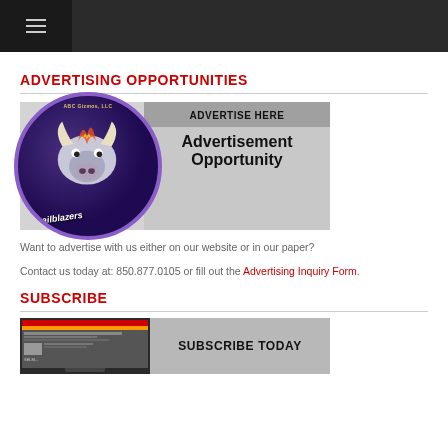Navigation bar with hamburger menu
ADVERTISING OPPORTUNITIES
[Figure (illustration): Advertisement banner with Trailblazers bull logo circle on left, 'ADVERTISE HERE' bar on top right, and 'Advertisement Opportunity' text in large bold font on the right side]
Want to advertise with us either on our website or in our paper?
Contact us today at: 850.877.0105 or fill out the Advertising Inquiry Form.
SUBSCRIBE
[Figure (screenshot): Subscribe banner with a newspaper/website screenshot image on left and 'SUBSCRIBE TODAY' text on right gray bar]